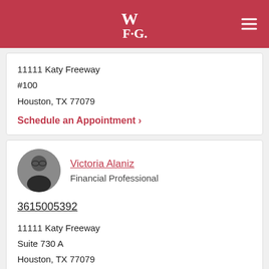[Figure (logo): WFG (World Financial Group) logo in white on red header bar]
11111 Katy Freeway
#100
Houston, TX 77079
Schedule an Appointment >
[Figure (photo): Circular profile photo of Victoria Alaniz, a woman with glasses and dark hair]
Victoria Alaniz
Financial Professional
3615005392
11111 Katy Freeway
Suite 730 A
Houston, TX 77079